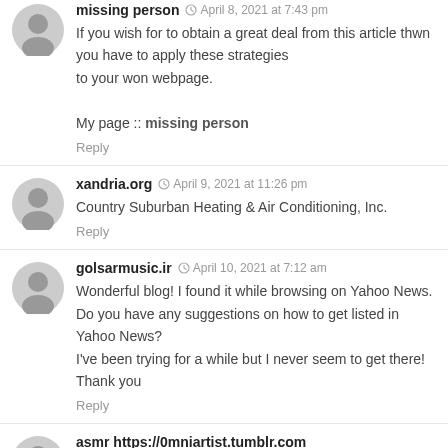missing person · April 8, 2021 at 7:43 pm
If you wish for to obtain a great deal from this article thwn you have to apply these strategies to your won webpage.

My page :: missing person

Reply
xandria.org · April 9, 2021 at 11:26 pm
Country Suburban Heating & Air Conditioning, Inc.

Reply
golsarmusic.ir · April 10, 2021 at 7:12 am
Wonderful blog! I found it while browsing on Yahoo News. Do you have any suggestions on how to get listed in Yahoo News?
I've been trying for a while but I never seem to get there! Thank you

Reply
asmr https://0mniartist.tumblr.com · April 10, 2021 at 6:18 pm
I used to be recommended this website by way of my